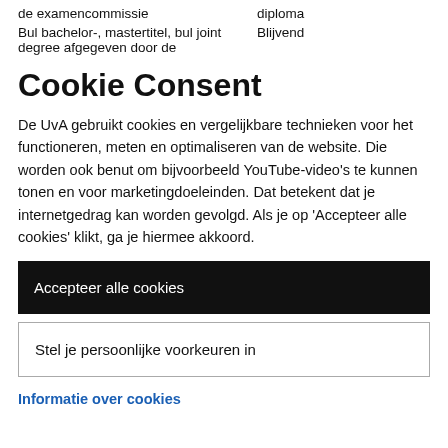| de examencommissie | diploma |
| Bul bachelor-, mastertitel, bul joint degree afgegeven door de | Blijvend |
Cookie Consent
De UvA gebruikt cookies en vergelijkbare technieken voor het functioneren, meten en optimaliseren van de website. Die worden ook benut om bijvoorbeeld YouTube-video's te kunnen tonen en voor marketingdoeleinden. Dat betekent dat je internetgedrag kan worden gevolgd. Als je op 'Accepteer alle cookies' klikt, ga je hiermee akkoord.
Accepteer alle cookies
Stel je persoonlijke voorkeuren in
Informatie over cookies